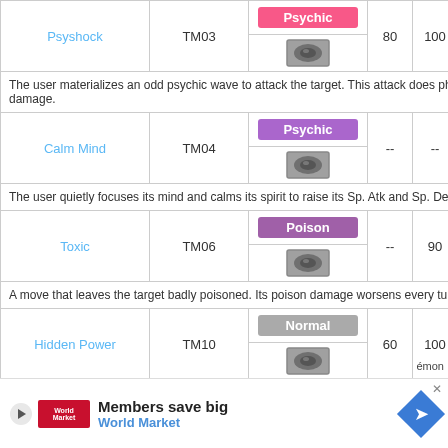| Move Name | TM | Type/Category | Power | Acc | PP |
| --- | --- | --- | --- | --- | --- |
| Psyshock | TM03 | Psychic / Special | 80 | 100 | 10 |
|  |  | The user materializes an odd psychic wave to attack the target. This attack does physical damage. |  |  |  |
| Calm Mind | TM04 | Psychic / Status | -- | -- | 20 |
|  |  | The user quietly focuses its mind and calms its spirit to raise its Sp. Atk and Sp. Def stats. |  |  |  |
| Toxic | TM06 | Poison / Status | -- | 90 | 10 |
|  |  | A move that leaves the target badly poisoned. Its poison damage worsens every turn. |  |  |  |
| Hidden Power | TM10 | Normal / Special | 60 | 100 | 15 |
[Figure (infographic): Navigation box with up arrow and Top label]
[Figure (infographic): Advertisement banner: Members save big / World Market with navigation icon]